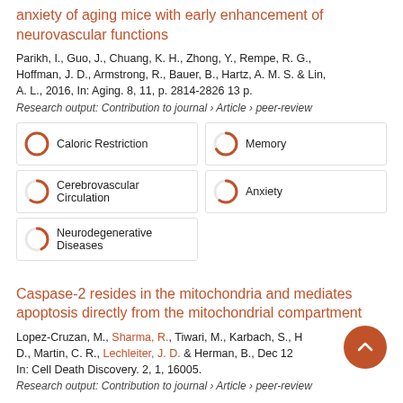anxiety of aging mice with early enhancement of neurovascular functions
Parikh, I., Guo, J., Chuang, K. H., Zhong, Y., Rempe, R. G., Hoffman, J. D., Armstrong, R., Bauer, B., Hartz, A. M. S. & Lin, A. L., 2016, In: Aging. 8, 11, p. 2814-2826 13 p.
Research output: Contribution to journal › Article › peer-review
[Figure (infographic): Five keyword badges in a 2-column grid: Caloric Restriction (100%), Memory (67%), Cerebrovascular Circulation (60%), Anxiety (60%), Neurodegenerative Diseases (43%)]
Caspase-2 resides in the mitochondria and mediates apoptosis directly from the mitochondrial compartment
Lopez-Cruzan, M., Sharma, R., Tiwari, M., Karbach, S., H... D., Martin, C. R., Lechleiter, J. D. & Herman, B., Dec 12... In: Cell Death Discovery. 2, 1, 16005.
Research output: Contribution to journal › Article › peer-review